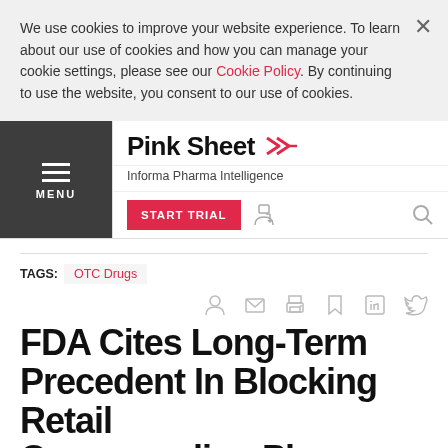We use cookies to improve your website experience. To learn about our use of cookies and how you can manage your cookie settings, please see our Cookie Policy. By continuing to use the website, you consent to our use of cookies.
Pink Sheet — Informa Pharma Intelligence
START TRIAL
TAGS: OTC Drugs
FDA Cites Long-Term Precedent In Blocking Retail Compounding Pharmacy Pl...